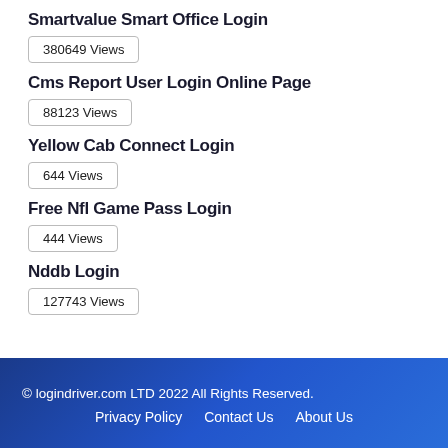Smartvalue Smart Office Login
380649 Views
Cms Report User Login Online Page
88123 Views
Yellow Cab Connect Login
644 Views
Free Nfl Game Pass Login
444 Views
Nddb Login
127743 Views
© logindriver.com LTD 2022 All Rights Reserved.
Privacy Policy   Contact Us   About Us